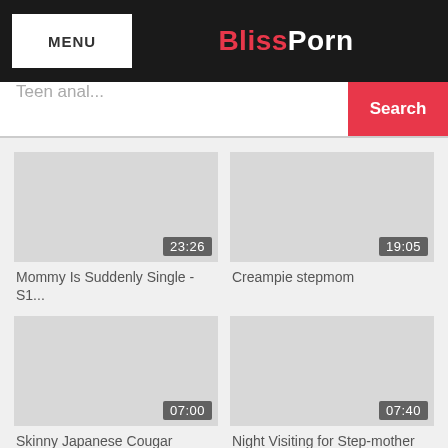MENU | BlissPorn
Teen anal... Search
[Figure (screenshot): Video thumbnail placeholder grey box with duration badge 23:26]
Mommy Is Suddenly Single - S1...
[Figure (screenshot): Video thumbnail placeholder grey box with duration badge 19:05]
Creampie stepmom
[Figure (screenshot): Video thumbnail placeholder grey box with duration badge 07:00]
Skinny Japanese Cougar Subm...
[Figure (screenshot): Video thumbnail placeholder grey box with duration badge 07:40]
Night Visiting for Step-mother